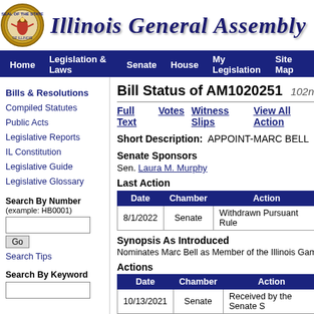[Figure (logo): Seal of the State of Illinois circular emblem]
Illinois General Assembly
Home  Legislation & Laws  Senate  House  My Legislation  Site Map
Bills & Resolutions
Compiled Statutes
Public Acts
Legislative Reports
IL Constitution
Legislative Guide
Legislative Glossary
Search By Number
(example: HB0001)
Go  Search Tips
Search By Keyword
Bill Status of AM1020251  102nd General Assembly
Full Text  Votes  Witness Slips  View All Actions
Short Description:  APPOINT-MARC BELL
Senate Sponsors
Sen. Laura M. Murphy
Last Action
| Date | Chamber | Action |
| --- | --- | --- |
| 8/1/2022 | Senate | Withdrawn Pursuant Rule... |
Synopsis As Introduced
Nominates Marc Bell as Member of the Illinois Gam...
Actions
| Date | Chamber | Action |
| --- | --- | --- |
| 10/13/2021 | Senate | Received by the Senate S... |